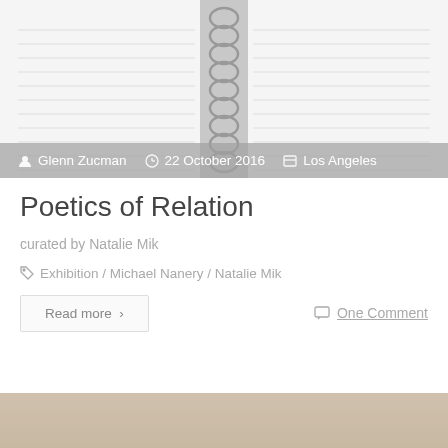[Figure (photo): A spiral-bound notebook photographed from above, showing lined pages and metal spiral coil, with a grey metadata overlay bar at the bottom showing author, date, and category]
Glenn Zucman   22 October 2016   Los Angeles
Poetics of Relation
curated by Natalie Mik
Exhibition / Michael Nanery / Natalie Mik
Read more ›
One Comment
[Figure (photo): Partial view of a second article's hero image, showing a blurred beige/tan outdoor scene, cropped at bottom of page]